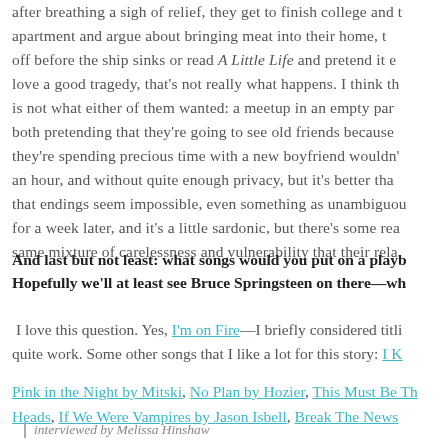after breathing a sigh of relief, they get to finish college and their apartment and argue about bringing meat into their home, t... off before the ship sinks or read A Little Life and pretend it e... love a good tragedy, that's not really what happens. I think th... is not what either of them wanted: a meetup in an empty par... both pretending that they're going to see old friends because they're spending precious time with a new boyfriend wouldn'... an hour, and without quite enough privacy, but it's better tha... that endings seem impossible, even something as unambiguou... for a week later, and it's a little sardonic, but there's some rea... same mixture of carelessness and vulnerability that their rela...
And last but not least: what songs would you put on a playl... Hopefully we'll at least see Bruce Springsteen on there—wh...
I love this question. Yes, I'm on Fire—I briefly considered titli... quite work. Some other songs that I like a lot for this story: I K...
Pink in the Night by Mitski, No Plan by Hozier, This Must Be Th... Heads, If We Were Vampires by Jason Isbell, Break The News...
interviewed by Melissa Hinshaw